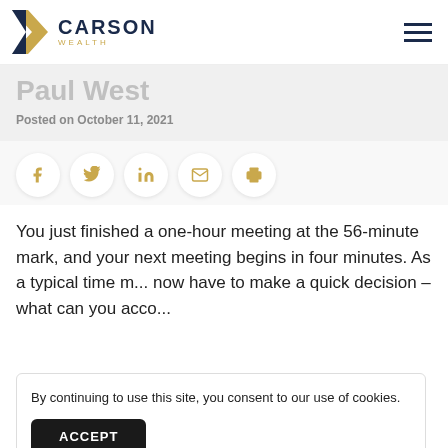Carson Wealth
Paul West
Posted on October 11, 2021
[Figure (infographic): Social sharing icons row: Facebook, Twitter, LinkedIn, Email, Print — gold icons inside white circular buttons]
You just finished a one-hour meeting at the 56-minute mark, and your next meeting begins in four minutes. As a typical time m... now have to make a quick decision – what can you acco...
By continuing to use this site, you consent to our use of cookies.